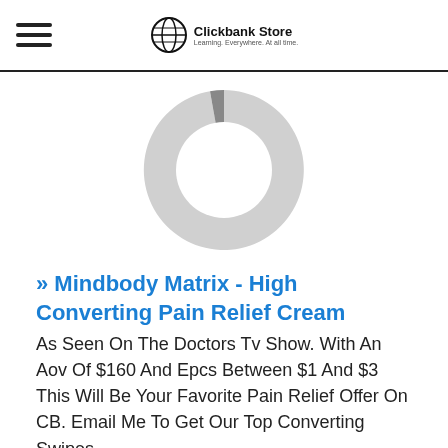Clickbank Store
[Figure (donut-chart): A donut chart with two segments: a large light gray segment and a smaller dark gray segment, no labels.]
» Mindbody Matrix - High Converting Pain Relief Cream
As Seen On The Doctors Tv Show. With An Aov Of $160 And Epcs Between $1 And $3 This Will Be Your Favorite Pain Relief Offer On CB. Email Me To Get Our Top Converting Swipes